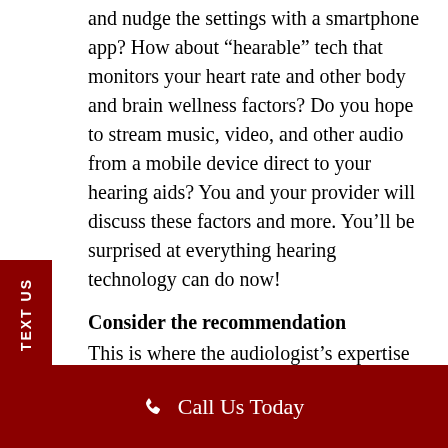and nudge the settings with a smartphone app? How about “hearable” tech that monitors your heart rate and other body and brain wellness factors? Do you hope to stream music, video, and other audio from a mobile device direct to your hearing aids? You and your provider will discuss these factors and more. You’ll be surprised at everything hearing technology can do now!
Consider the recommendation
This is where the audiologist’s expertise really shines. When they make their recommendation, they will have synthesized all the hearing lifestyle information you provided, all the data from your hearing evaluation, and their wealth of
Call Us Today